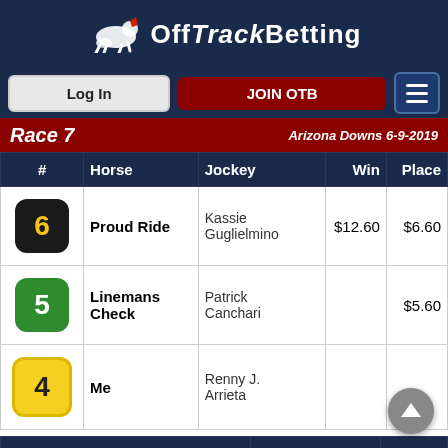OffTrackBetting
Race 7 — Arizona Downs 6-9-2019
| # | Horse | Jockey | Win | Place |
| --- | --- | --- | --- | --- |
| 6 | Proud Ride | Kassie Guglielmino | $12.60 | $6.60 |
| 5 | Linemans Check | Patrick Canchari |  | $5.60 |
| 4 | Me | Renny J. Arrieta |  |  |
| Bet Type | Runners | Pay Out |
| --- | --- | --- |
| $2 Exacta | 6-5 | $79.40 |
| $2 Quinella | 5-6 | $35.40 |